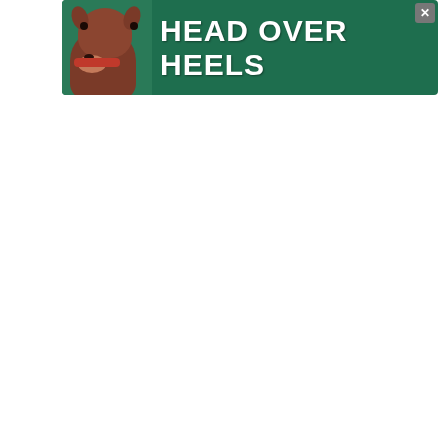[Figure (illustration): Green advertisement banner with a brown dog/pit bull on the left and bold white text 'HEAD OVER HEELS' on a dark green background. Close button (X) in top right corner.]
[Figure (illustration): Light blue promotional banner showing a tablet device displaying 'BITES OF WELLNESS' e-cookbook cover with a food photo. Background is a pale aqua/teal gradient.]
[Figure (illustration): Heart icon button (teal circle with white heart) with count '1.1K' below it, and a share button (teal circle with share icon) below that, on the right sidebar.]
1.1K
[Figure (illustration): WHAT'S NEXT panel with arrow, showing a thumbnail image of chocolate truffles and text 'Vegan Chocolate...']
WHAT'S NEXT
Vegan Chocolate...
[Figure (illustration): Bottom advertisement banner: 'I Bake COOKIES For A CURE' with girl photo, 'So can you!' text, green cookies circle logo, Heldora 11 Cancer Survivor badge, and WW logo. Close X button.]